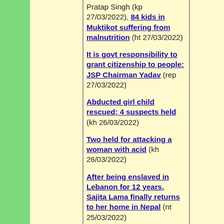Pratap Singh (kp 27/03/2022), 84 kids in Muktikot suffering from malnutrition (ht 27/03/2022)
It is govt responsibility to grant citizenship to people: JSP Chairman Yadav (rep 27/03/2022)
Abducted girl child rescued; 4 suspects held (kh 26/03/2022)
Two held for attacking a woman with acid (kh 26/03/2022)
After being enslaved in Lebanon for 12 years, Sajita Lama finally returns to her home in Nepal (nt 25/03/2022)
Don't act on the Act : The vagueness of a new amendment to the broadcast law is designed for arbitrary application (nt 25/03/2022)
Commission to dig up sites in search of missing persons :